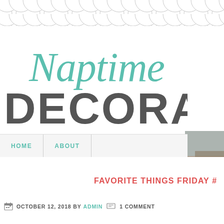[Figure (illustration): Decorative scallop/fish scale pattern in gray at the top of the page]
[Figure (logo): Naptime Decorator blog logo — 'Naptime' in teal cursive script above 'DECORATOR' in large bold dark gray uppercase sans-serif letters]
[Figure (photo): Partial photo visible at the right edge, appears to be a home decor or coastal scene]
HOME   ABOUT
FAVORITE THINGS FRIDAY #
OCTOBER 12, 2018 BY ADMIN   1 COMMENT